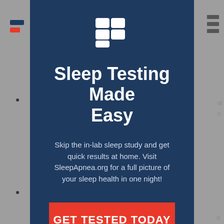[Figure (logo): SleepApnea.org logo - white grid/puzzle icon made of four rounded rectangles arranged in a 2x2 grid]
Sleep Testing Made Easy
Skip the in-lab sleep study and get quick results at home. Visit SleepApnea.org for a full picture of your sleep health in one night!
GET TESTED TODAY